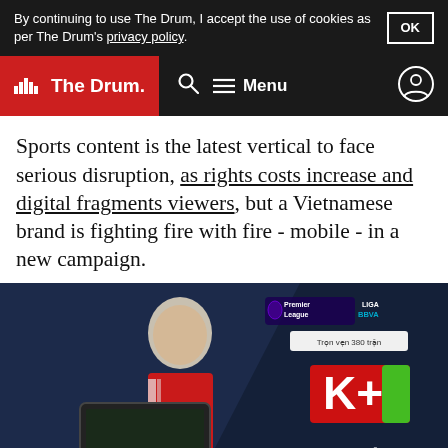By continuing to use The Drum, I accept the use of cookies as per The Drum's privacy policy.
The Drum — Navigation bar with search, menu, and account icons
Sports content is the latest vertical to face serious disruption, as rights costs increase and digital fragments viewers, but a Vietnamese brand is fighting fire with fire - mobile - in a new campaign.
[Figure (photo): Advertisement image featuring a footballer in Manchester United red kit overlaid with K+ brand logo, Premier League and Liga BBVA logos, Vietnamese text 'Trọn vẹn 380 trận' and 'MÙA MỚI' at the bottom on a dark blue background.]